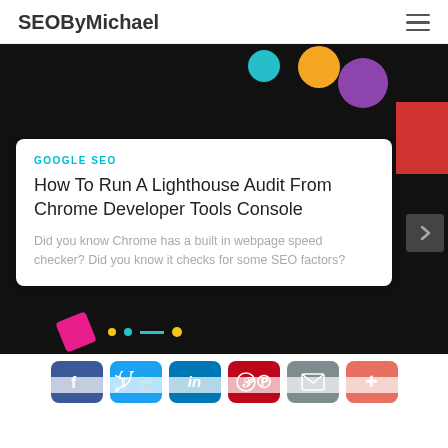SEOByMichael
[Figure (screenshot): Website screenshot showing a blog post card on dark background with colorful decorative elements. Card contains category label GOOGLE SEO, article title, and excerpt.]
GOOGLE SEO
How To Run A Lighthouse Audit From Chrome Developer Tools Console
Did you know Chrome has a built in webpage speed checker? Did you know it checks for some SEO factors?
[Figure (infographic): Social share bar with Facebook, Twitter, LinkedIn, Pinterest, Email, and More (+) buttons]